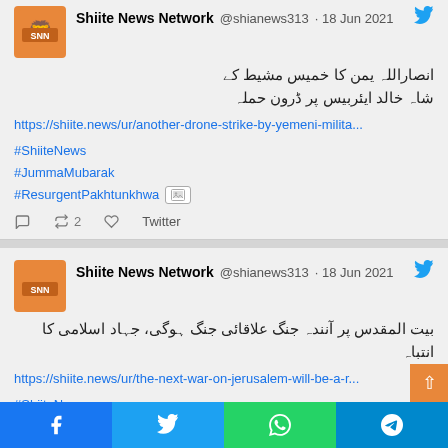Shiite News Network @shianews313 · 18 Jun 2021 — انصاراللہ یمن کا خمیس مشیط کے شاہ خالد ایئربیس پر ڈرون حملہ
https://shiite.news/ur/another-drone-strike-by-yemeni-milita...
#ShiiteNews
#JummaMubarak
#ResurgentPakhtunkhwa
retweet 2 · Twitter
Shiite News Network @shianews313 · 18 Jun 2021 — بیت المقدس پر آنندہ جنگ علاقائی جنگ ہوگی، جہاد اسلامی کا انتباہ
https://shiite.news/ur/the-next-war-on-jerusalem-will-be-a-r...
#ShiiteNews
#JummaMubarak
#ResurgentPakhtunkhwa